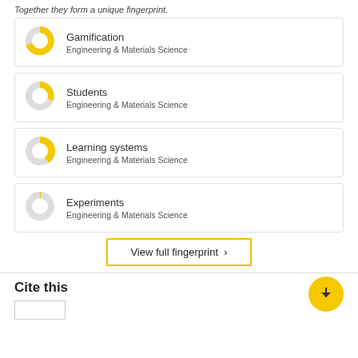Together they form a unique fingerprint.
Gamification
Engineering & Materials Science
Students
Engineering & Materials Science
Learning systems
Engineering & Materials Science
Experiments
Engineering & Materials Science
View full fingerprint >
Cite this